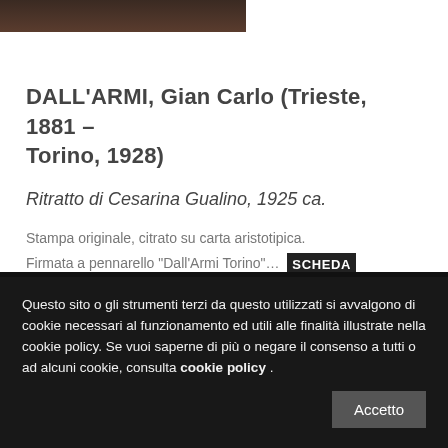[Figure (photo): Partial view of a dark-toned photographic portrait at the top of the page]
DALL'ARMI, Gian Carlo (Trieste, 1881 - Torino, 1928)
Ritratto di Cesarina Gualino, 1925 ca.
Stampa originale, citrato su carta aristotipica.
Firmata a pennarello "Dall'Armi Torino"...  SCHEDA
Questo sito o gli strumenti terzi da questo utilizzati si avvalgono di cookie necessari al funzionamento ed utili alle finalità illustrate nella cookie policy. Se vuoi saperne di più o negare il consenso a tutti o ad alcuni cookie, consulta cookie policy .